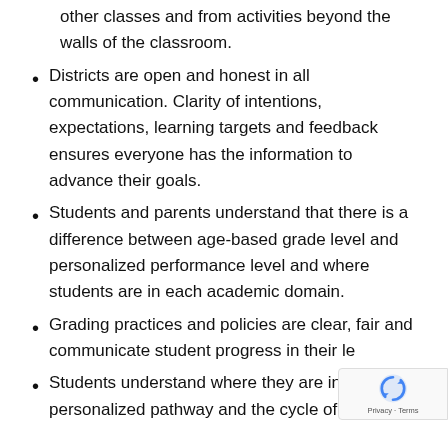other classes and from activities beyond the walls of the classroom.
Districts are open and honest in all communication. Clarity of intentions, expectations, learning targets and feedback ensures everyone has the information to advance their goals.
Students and parents understand that there is a difference between age-based grade level and personalized performance level and where students are in each academic domain.
Grading practices and policies are clear, fair and communicate student progress in their le…
Students understand where they are in th… personalized pathway and the cycle of learning.